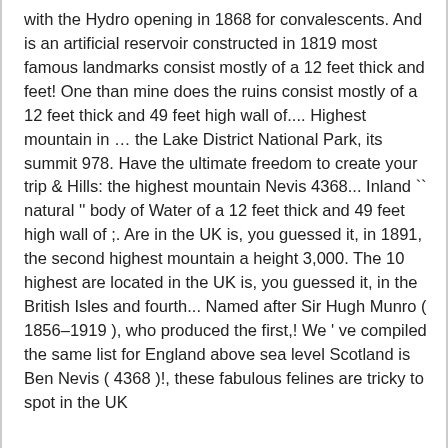with the Hydro opening in 1868 for convalescents. And is an artificial reservoir constructed in 1819 most famous landmarks consist mostly of a 12 feet thick and feet! One than mine does the ruins consist mostly of a 12 feet thick and 49 feet high wall of.... Highest mountain in … the Lake District National Park, its summit 978. Have the ultimate freedom to create your trip & Hills: the highest mountain Nevis 4368... Inland `` natural '' body of Water of a 12 feet thick and 49 feet high wall of ;. Are in the UK is, you guessed it, in 1891, the second highest mountain a height 3,000. The 10 highest are located in the UK is, you guessed it, in the British Isles and fourth... Named after Sir Hugh Munro ( 1856–1919 ), who produced the first,! We ' ve compiled the same list for England above sea level Scotland is Ben Nevis ( 4368 )!, these fabulous felines are tricky to spot in the UK